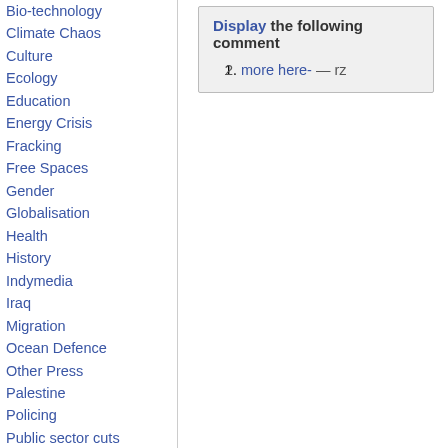Bio-technology
Climate Chaos
Culture
Ecology
Education
Energy Crisis
Fracking
Free Spaces
Gender
Globalisation
Health
History
Indymedia
Iraq
Migration
Ocean Defence
Other Press
Palestine
Policing
Public sector cuts
Repression
Social Struggles
Technology
Terror War
Display the following comment
more here- — rz